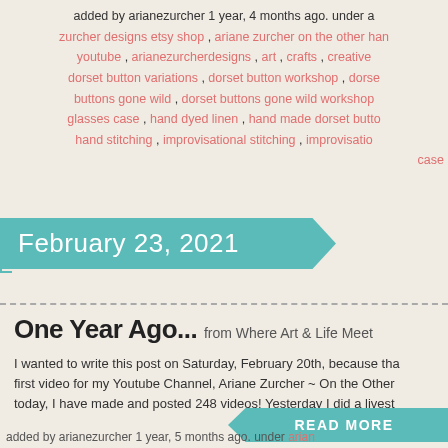added by arianezurcher 1 year, 4 months ago. under a zurcher designs etsy shop , ariane zurcher on the other hand youtube , arianezurcherdesigns , art , crafts , creative dorset button variations , dorset button workshop , dorset buttons gone wild , dorset buttons gone wild workshop glasses case , hand dyed linen , hand made dorset button hand stitching , improvisational stitching , improvisation case
February 23, 2021
One Year Ago.... from Where Art & Life Meet
I wanted to write this post on Saturday, February 20th, because that first video for my Youtube Channel, Ariane Zurcher ~ On the Other today, I have made and posted 248 videos! Yesterday I did a livest
READ MORE
added by arianezurcher 1 year, 5 months ago. under arian